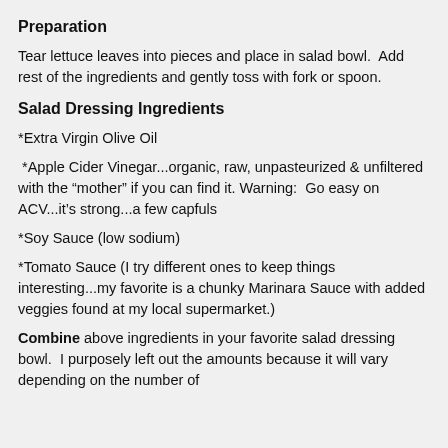Preparation
Tear lettuce leaves into pieces and place in salad bowl.  Add rest of the ingredients and gently toss with fork or spoon.
Salad Dressing Ingredients
*Extra Virgin Olive Oil
*Apple Cider Vinegar...organic, raw, unpasteurized & unfiltered with the “mother” if you can find it. Warning:  Go easy on ACV...it’s strong...a few capfuls
*Soy Sauce (low sodium)
*Tomato Sauce (I try different ones to keep things interesting...my favorite is a chunky Marinara Sauce with added veggies found at my local supermarket.)
Combine above ingredients in your favorite salad dressing bowl.  I purposely left out the amounts because it will vary depending on the number of